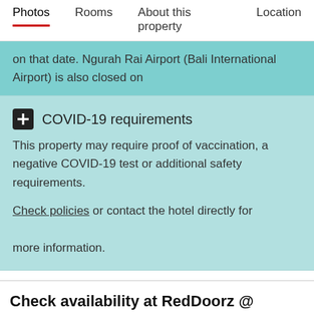Photos   Rooms   About this property   Location
on that date. Ngurah Rai Airport (Bali International Airport) is also closed on
COVID-19 requirements
This property may require proof of vaccination, a negative COVID-19 test or additional safety requirements.
Check policies or contact the hotel directly for more information.
Check availability at RedDoorz @ Sehati Raya Kuta
To view room prices at this property, please enter your stay dates.